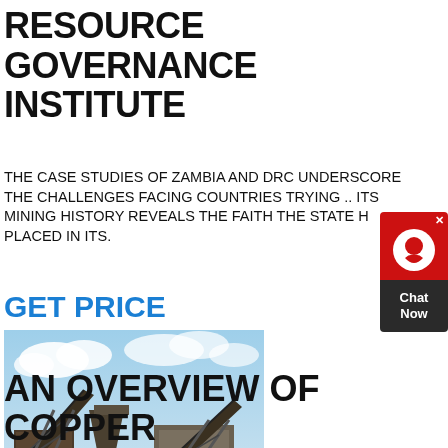RESOURCE GOVERNANCE INSTITUTE
THE CASE STUDIES OF ZAMBIA AND DRC UNDERSCORE THE CHALLENGES FACING COUNTRIES TRYING .. ITS MINING HISTORY REVEALS THE FAITH THE STATE H PLACED IN ITS.
GET PRICE
[Figure (photo): Industrial mining facility with conveyor belts, crushers, and heavy machinery under a partly cloudy sky]
AN OVERVIEW OF COPPER